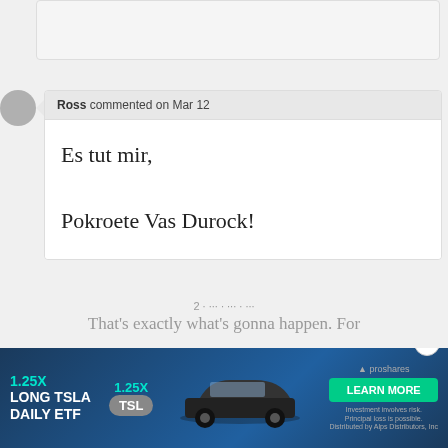Ross commented on Mar 12
Es tut mir,

Pokroete Vas Durock!
DonKei commented on Mar 12
[Figure (other): Advertisement banner for 1.25X Long TSLA Daily ETF with Tesla car image and Learn More button]